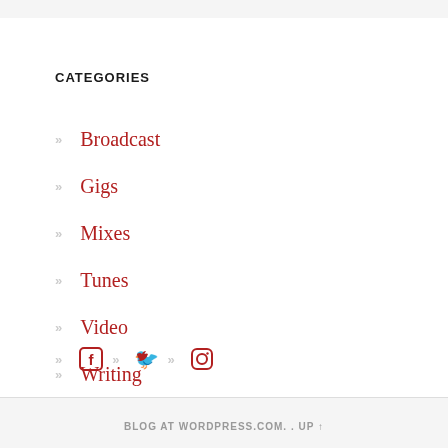CATEGORIES
Broadcast
Gigs
Mixes
Tunes
Video
Writing
[Figure (other): Social media icons row: Facebook, Twitter, Instagram icons in red with grey chevron separators]
BLOG AT WORDPRESS.COM. . UP ↑